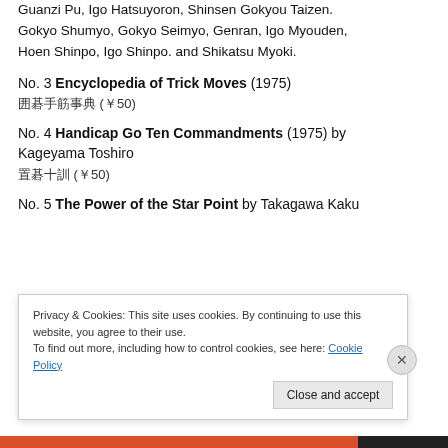Selection of problems and works from Adanhuan Qijing, Guanzi Pu, Igo Hatsuyoron, Shinsen Gokyou Taizen. Gokyo Shumyo, Gokyo Seimyo, Genran, Igo Myouden, Hoen Shinpo, Igo Shinpo. and Shikatsu Myoki.
No. 3 Encyclopedia of Trick Moves (1975)
囲碁手筋事典 (￥50)
No. 4 Handicap Go Ten Commandments (1975) by Kageyama Toshiro
置碁十訓 (￥50)
No. 5 The Power of the Star Point by Takagawa Kaku
Privacy & Cookies: This site uses cookies. By continuing to use this website, you agree to their use.
To find out more, including how to control cookies, see here: Cookie Policy
Close and accept